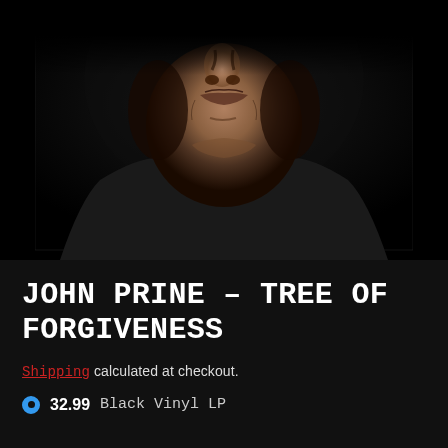[Figure (photo): Close-up portrait of an older man (John Prine) in a black shirt and dark jacket against a black background. Only the lower half of the face and torso are visible.]
JOHN PRINE – TREE OF FORGIVENESS
Shipping calculated at checkout.
32.99  Black Vinyl LP